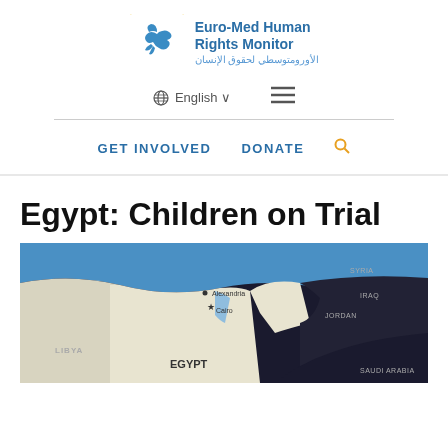[Figure (logo): Euro-Med Human Rights Monitor logo with dove and stars]
Euro-Med Human Rights Monitor | الأورومتوسطي لحقوق الإنسان
English  ≡
GET INVOLVED   DONATE 🔍
Egypt: Children on Trial
[Figure (map): Map showing Egypt and surrounding region including Libya, Syria, Iraq, Jordan, Saudi Arabia, with Alexandria and Cairo marked]